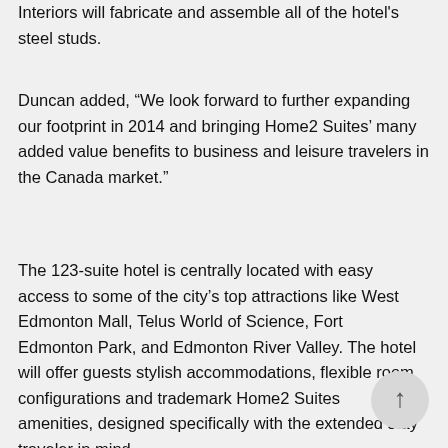Interiors will fabricate and assemble all of the hotel's steel studs.
Duncan added, “We look forward to further expanding our footprint in 2014 and bringing Home2 Suites’ many added value benefits to business and leisure travelers in the Canada market.”
The 123-suite hotel is centrally located with easy access to some of the city’s top attractions like West Edmonton Mall, Telus World of Science, Fort Edmonton Park, and Edmonton River Valley. The hotel will offer guests stylish accommodations, flexible room configurations and trademark Home2 Suites amenities, designed specifically with the extended stay traveler in mind.